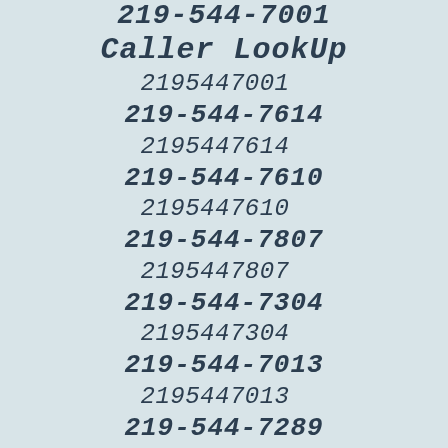219-544-7001
Caller LookUp
2195447001
219-544-7614
2195447614
219-544-7610
2195447610
219-544-7807
2195447807
219-544-7304
2195447304
219-544-7013
2195447013
219-544-7289
2195447289
219-544-7483